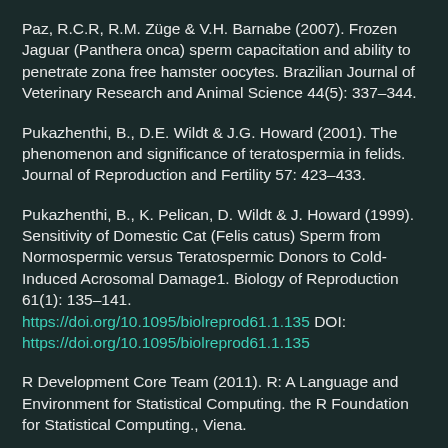Paz, R.C.R, R.M. Züge & V.H. Barnabe (2007). Frozen Jaguar (Panthera onca) sperm capacitation and ability to penetrate zona free hamster oocytes. Brazilian Journal of Veterinary Research and Animal Science 44(5): 337–344.
Pukazhenthi, B., D.E. Wildt & J.G. Howard (2001). The phenomenon and significance of teratospermia in felids. Journal of Reproduction and Fertility 57: 423–433.
Pukazhenthi, B., K. Pelican, D. Wildt & J. Howard (1999). Sensitivity of Domestic Cat (Felis catus) Sperm from Normospermic versus Teratospermic Donors to Cold-Induced Acrosomal Damage1. Biology of Reproduction 61(1): 135–141. https://doi.org/10.1095/biolreprod61.1.135 DOI: https://doi.org/10.1095/biolreprod61.1.135
R Development Core Team (2011). R: A Language and Environment for Statistical Computing. the R Foundation for Statistical Computing., Viena.
Royston, J.P. (1982). Algorithm AS 181: The W Test for Normality. Applied Statistics 31(2): 176.